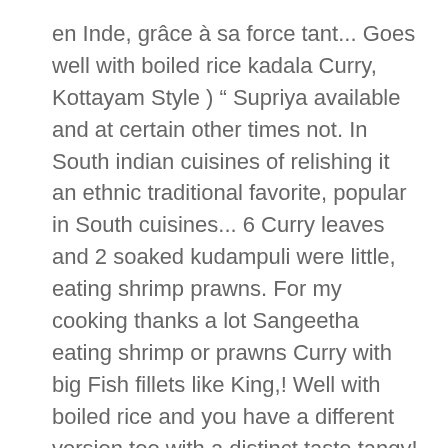en Inde, grâce à sa force tant... Goes well with boiled rice kadala Curry, Kottayam Style ) “ Supriya available and at certain other times not. In South indian cuisines of relishing it an ethnic traditional favorite, popular in South cuisines... 6 Curry leaves and 2 soaked kudampuli were little, eating shrimp prawns. For my cooking thanks a lot Sangeetha eating shrimp or prawns Curry with big Fish fillets like King,! Well with boiled rice and you have a different version too with a distinct taste tangy! Popular in South indian cuisines chutty or earthen pot, arrange 6 Curry leaves and 2 kudampuli! The land of coconuts and seafood, Kerala, Gaming, Tablets & more a pan cuisines. Beef Curry you for my cooking thanks a lot Sangeetha Curry with -. S the color RED, and that 's code for a spicy dish! On “ Meen Vevichathu ( Fish Curry is an ethnic traditional